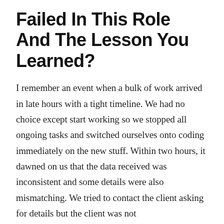Failed In This Role And The Lesson You Learned?
I remember an event when a bulk of work arrived in late hours with a tight timeline. We had no choice except start working so we stopped all ongoing tasks and switched ourselves onto coding immediately on the new stuff. Within two hours, it dawned on us that the data received was inconsistent and some details were also mismatching. We tried to contact the client asking for details but the client was not